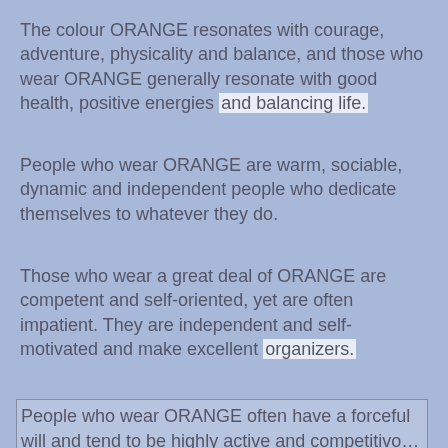The colour ORANGE resonates with courage, adventure, physicality and balance, and those who wear ORANGE generally resonate with good health, positive energies and balancing life.
People who wear ORANGE are warm, sociable, dynamic and independent people who dedicate themselves to whatever they do.
Those who wear a great deal of ORANGE are competent and self-oriented, yet are often impatient. They are independent and self-motivated and make excellent organizers.
People who wear ORANGE often have a forceful will and tend to be highly active and competitive.